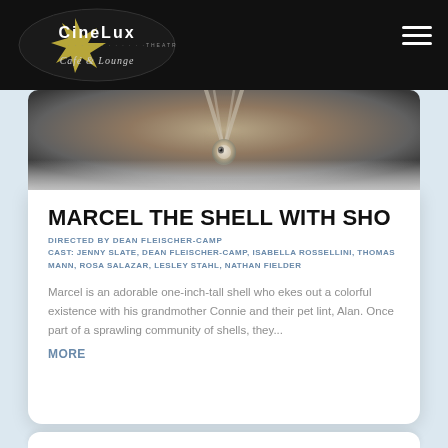[Figure (logo): CineLux Theatres Café & Lounge logo — oval shaped, black background, white text, gold/yellow star design]
[Figure (photo): Close-up blurred photo of a small shell-like object being held by metal tongs or wire, warm bokeh background]
MARCEL THE SHELL WITH SHO
DIRECTED BY DEAN FLEISCHER-CAMP
CAST: JENNY SLATE, DEAN FLEISCHER-CAMP, ISABELLA ROSSELLINI, THOMAS MANN, ROSA SALAZAR, LESLEY STAHL, NATHAN FIELDER
Marcel is an adorable one-inch-tall shell who ekes out a colorful existence with his grandmother Connie and their pet lint, Alan. Once part of a sprawling community of shells, they...
MORE